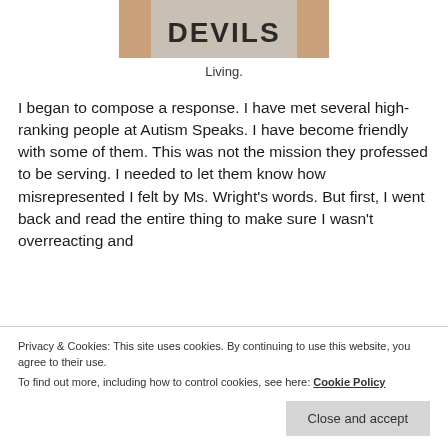[Figure (photo): Photo of person wearing a white Devils t-shirt, cropped to show shirt text]
Living.
I began to compose a response. I have met several high-ranking people at Autism Speaks. I have become friendly with some of them. This was not the mission they professed to be serving. I needed to let them know how misrepresented I felt by Ms. Wright's words. But first, I went back and read the entire thing to make sure I wasn't overreacting and
Privacy & Cookies: This site uses cookies. By continuing to use this website, you agree to their use.
To find out more, including how to control cookies, see here: Cookie Policy
Close and accept